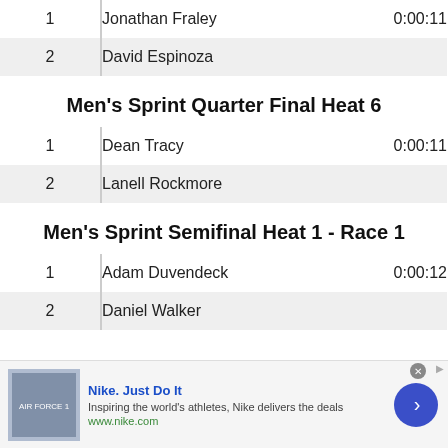| # | Name | Time |
| --- | --- | --- |
| 1 | Jonathan Fraley | 0:00:11 |
| 2 | David Espinoza |  |
Men's Sprint Quarter Final Heat 6
| # | Name | Time |
| --- | --- | --- |
| 1 | Dean Tracy | 0:00:11 |
| 2 | Lanell Rockmore |  |
Men's Sprint Semifinal Heat 1 - Race 1
| # | Name | Time |
| --- | --- | --- |
| 1 | Adam Duvendeck | 0:00:12 |
| 2 | Daniel Walker |  |